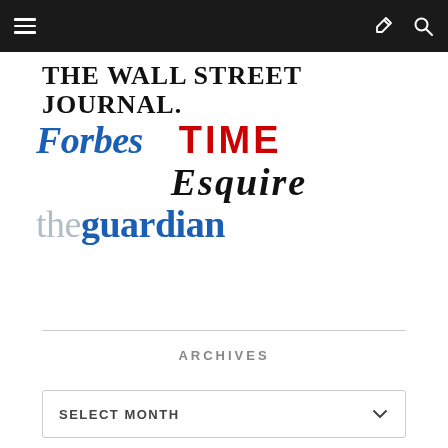[Figure (screenshot): Mobile website navigation bar with hamburger menu icon on left and share/search icons on right, dark background]
[Figure (logo): Media brand logos: The Wall Street Journal, Forbes, TIME, Esquire, The Guardian arranged vertically]
ARCHIVES
SELECT MONTH